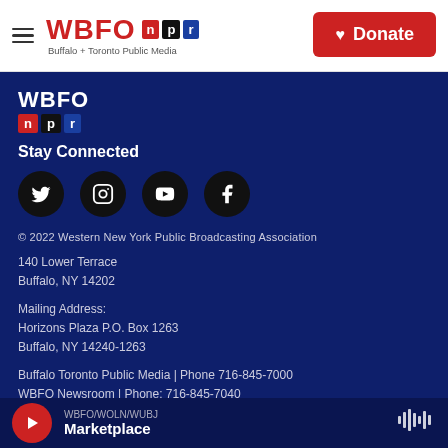WBFO NPR — Buffalo + Toronto Public Media | Donate
[Figure (logo): WBFO NPR logo with red, black and blue boxes for n, p, r letters]
Stay Connected
[Figure (infographic): Four social media icons: Twitter, Instagram, YouTube, Facebook — white icons on black circles]
© 2022 Western New York Public Broadcasting Association
140 Lower Terrace
Buffalo, NY 14202
Mailing Address:
Horizons Plaza P.O. Box 1263
Buffalo, NY 14240-1263
Buffalo Toronto Public Media | Phone 716-845-7000
WBFO Newsroom | Phone: 716-845-7040
WBFO/WOLN/WUBJ — Marketplace